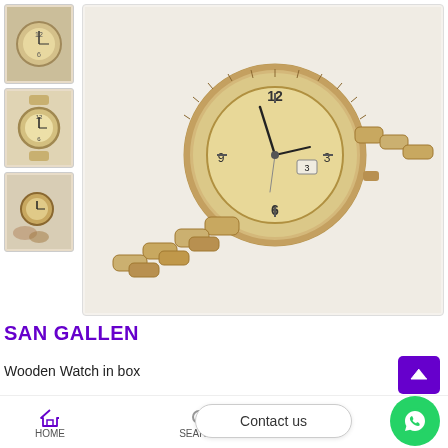[Figure (photo): Thumbnail photo 1: wooden watch on wrist from above]
[Figure (photo): Thumbnail photo 2: small wooden watch face front view]
[Figure (photo): Thumbnail photo 3: wooden watch placed on flowers]
[Figure (photo): Main product photo: wooden watch with linked wooden bracelet and pale wood dial showing 12, 6, 3, 9 hour markers and date window]
SAN GALLEN
Wooden Watch in box
SKU: M09582-40   Categories: Accessories, Apparel &